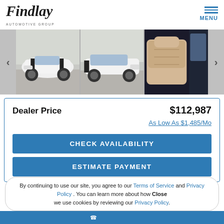[Figure (logo): Findlay Automotive Group logo in bold italic font]
[Figure (photo): Car dealership image carousel showing white Corvette from front-left, rear-left, and interior views with navigation arrows]
Dealer Price   $112,987
As Low As $1,485/Mo
CHECK AVAILABILITY
ESTIMATE PAYMENT
By continuing to use our site, you agree to our Terms of Service and Privacy Policy . You can learn more about how we use cookies by reviewing our Privacy Policy.  Close